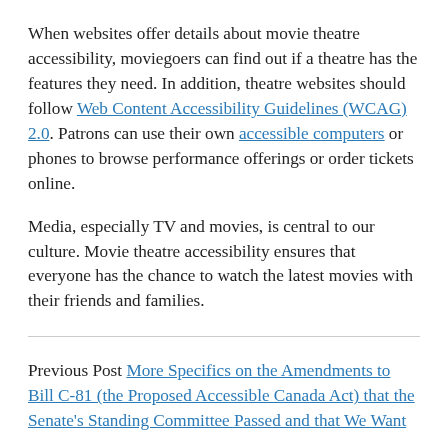When websites offer details about movie theatre accessibility, moviegoers can find out if a theatre has the features they need. In addition, theatre websites should follow Web Content Accessibility Guidelines (WCAG) 2.0. Patrons can use their own accessible computers or phones to browse performance offerings or order tickets online.
Media, especially TV and movies, is central to our culture. Movie theatre accessibility ensures that everyone has the chance to watch the latest movies with their friends and families.
Previous Post More Specifics on the Amendments to Bill C-81 (the Proposed Accessible Canada Act) that the Senate's Standing Committee Passed and that We Want